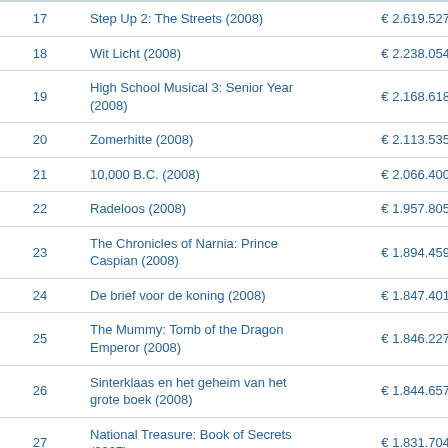| # | Title | Revenue |  |
| --- | --- | --- | --- |
| 17 | Step Up 2: The Streets (2008) | € 2.619.527 |  |
| 18 | Wit Licht (2008) | € 2.238.054 |  |
| 19 | High School Musical 3: Senior Year (2008) | € 2.168.618 |  |
| 20 | Zomerhitte (2008) | € 2.113.535 |  |
| 21 | 10,000 B.C. (2008) | € 2.066.400 |  |
| 22 | Radeloos (2008) | € 1.957.805 |  |
| 23 | The Chronicles of Narnia: Prince Caspian (2008) | € 1.894.459 |  |
| 24 | De brief voor de koning (2008) | € 1.847.401 |  |
| 25 | The Mummy: Tomb of the Dragon Emperor (2008) | € 1.846.227 |  |
| 26 | Sinterklaas en het geheim van het grote boek (2008) | € 1.844.657 |  |
| 27 | National Treasure: Book of Secrets (2007) | € 1.831.704 |  |
| 28 | Alibi (2008) | € 1.765.754 |  |
| 29 | The Day the Earth Stood Still (2008) | € 1.685.635 |  |